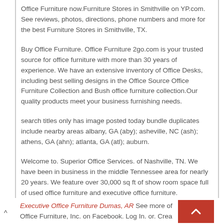Office Furniture now.Furniture Stores in Smithville on YP.com. See reviews, photos, directions, phone numbers and more for the best Furniture Stores in Smithville, TX.
Buy Office Furniture. Office Furniture 2go.com is your trusted source for office furniture with more than 30 years of experience. We have an extensive inventory of Office Desks, including best selling designs in the Office Source Office Furniture Collection and Bush office furniture collection.Our quality products meet your business furnishing needs.
search titles only has image posted today bundle duplicates include nearby areas albany, GA (aby); asheville, NC (ash); athens, GA (ahn); atlanta, GA (atl); auburn.
Welcome to. Superior Office Services. of Nashville, TN. We have been in business in the middle Tennessee area for nearly 20 years. We feature over 30,000 sq ft of show room space full of used office furniture and executive office furniture.
Executive Office Furniture Dumas, AR See more of Office Furniture, Inc. on Facebook. Log In. or. Crea